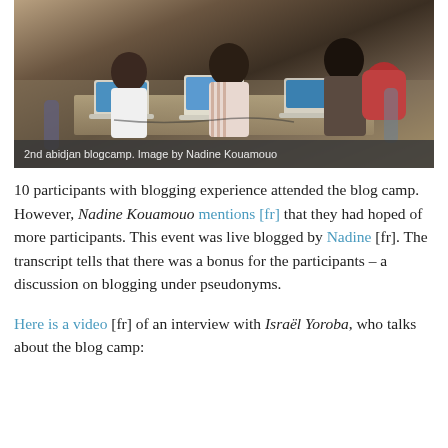[Figure (photo): People sitting at tables with laptops, working at a blogcamp event (2nd Abidjan blogcamp). Caption: '2nd abidjan blogcamp. Image by Nadine Kouamouo']
2nd abidjan blogcamp. Image by Nadine Kouamouo
10 participants with blogging experience attended the blog camp. However, Nadine Kouamouo mentions [fr] that they had hoped of more participants. This event was live blogged by Nadine [fr]. The transcript tells that there was a bonus for the participants – a discussion on blogging under pseudonyms.
Here is a video [fr] of an interview with Israël Yoroba, who talks about the blog camp: